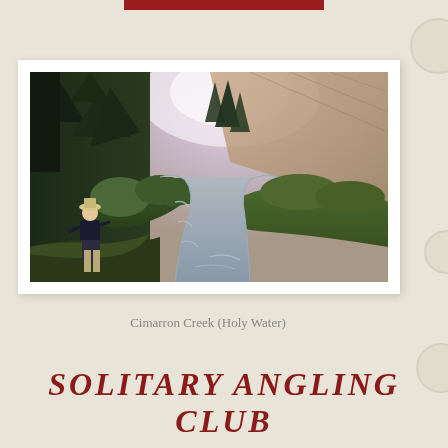[Figure (photo): A fly fisherman standing on the bank of Cimarron Creek (Holy Water), a winding mountain stream flanked by dense evergreen trees and autumn-colored cliffs in the background. The water flows through a lush green-banked canyon.]
Cimarron Creek (Holy Water)
SOLITARY ANGLING CLUB